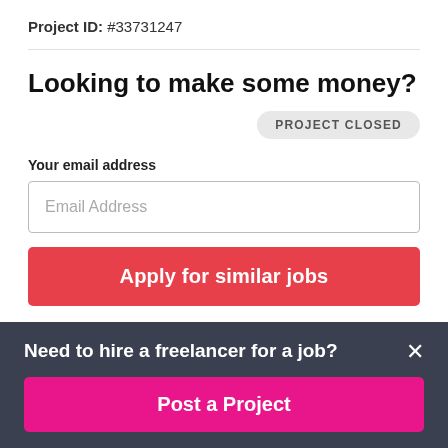Project ID: #33731247
Looking to make some money?
PROJECT CLOSED
Your email address
Email Address
Apply for similar jobs
Need to hire a freelancer for a job?
Post a Project